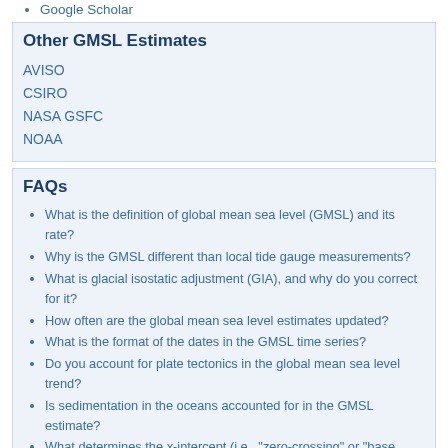Google Scholar
Other GMSL Estimates
AVISO
CSIRO
NASA GSFC
NOAA
FAQs
What is the definition of global mean sea level (GMSL) and its rate?
Why is the GMSL different than local tide gauge measurements?
What is glacial isostatic adjustment (GIA), and why do you correct for it?
How often are the global mean sea level estimates updated?
What is the format of the dates in the GMSL time series?
Do you account for plate tectonics in the global mean sea level trend?
Is sedimentation in the oceans accounted for in the GMSL estimate?
What determines the x-intercept (i.e., "zero-crossing" or "base